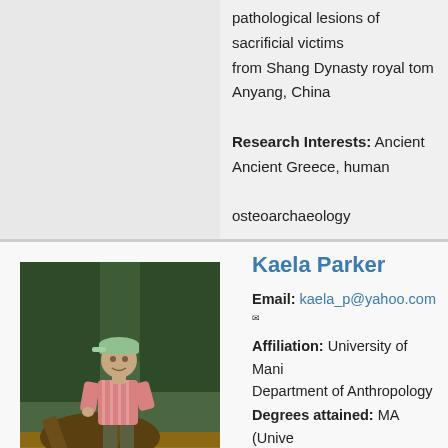pathological lesions of sacrificial victims from Shang Dynasty royal tombs Anyang, China Research Interests: Ancient Greece, human osteoarchaeology
[Figure (photo): Photo of Kaela Parker standing in a forested area, wearing a pink striped shirt, olive pants, black boots, and a green cap.]
Kaela Parker
Email: kaela_p@yahoo.com
Affiliation: University of Manitoba, Department of Anthropology
Degrees attained: MA (University of Victoria, 2011), BA (University of Alberta, 2008)
Supervisor(s): Dr. Tracey Ga...